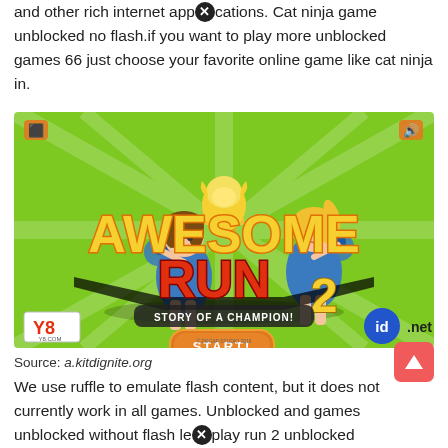and other rich internet applications. Cat ninja game unblocked no flash.if you want to play more unblocked games 66 just choose your favorite online game like cat ninja in.
[Figure (screenshot): Screenshot of 'Awesome Run 2 - Story of a Champion!' game title screen on Y8.com with green background, two cheerleader characters, trophy, and START button. id.net logo visible.]
Source: a.kitdignite.org
We use ruffle to emulate flash content, but it does not currently work in all games. Unblocked and games unblocked without flash le[x]play run 2 unblocked